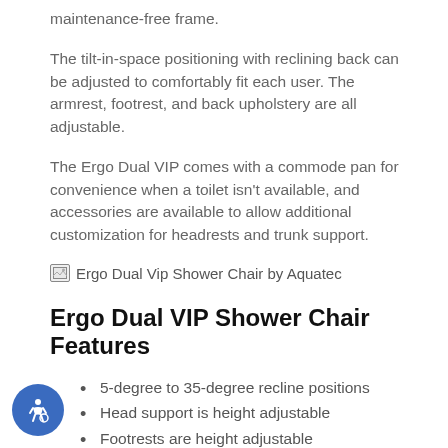maintenance-free frame.
The tilt-in-space positioning with reclining back can be adjusted to comfortably fit each user. The armrest, footrest, and back upholstery are all adjustable.
The Ergo Dual VIP comes with a commode pan for convenience when a toilet isn't available, and accessories are available to allow additional customization for headrests and trunk support.
[Figure (photo): Ergo Dual Vip Shower Chair by Aquatec — broken/placeholder image icon with alt text]
Ergo Dual VIP Shower Chair Features
5-degree to 35-degree recline positions
Head support is height adjustable
Footrests are height adjustable